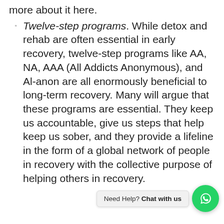more about it here.
Twelve-step programs. While detox and rehab are often essential in early recovery, twelve-step programs like AA, NA, AAA (All Addicts Anonymous), and Al-anon are all enormously beneficial to long-term recovery. Many will argue that these programs are essential. They keep us accountable, give us steps that help keep us sober, and they provide a lifeline in the form of a global network of people in recovery with the collective purpose of helping others in recovery.